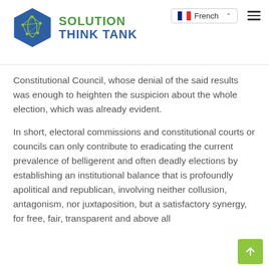Solution Think Tank — French language selector
Constitutional Council, whose denial of the said results was enough to heighten the suspicion about the whole election, which was already evident.
In short, electoral commissions and constitutional courts or councils can only contribute to eradicating the current prevalence of belligerent and often deadly elections by establishing an institutional balance that is profoundly apolitical and republican, involving neither collusion, antagonism, nor juxtaposition, but a satisfactory synergy, for free, fair, transparent and above all